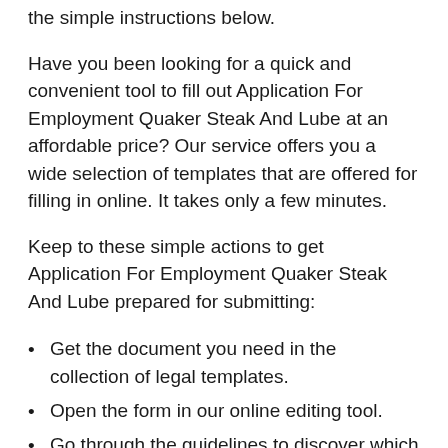the simple instructions below.
Have you been looking for a quick and convenient tool to fill out Application For Employment Quaker Steak And Lube at an affordable price? Our service offers you a wide selection of templates that are offered for filling in online. It takes only a few minutes.
Keep to these simple actions to get Application For Employment Quaker Steak And Lube prepared for submitting:
Get the document you need in the collection of legal templates.
Open the form in our online editing tool.
Go through the guidelines to discover which information you need to provide.
Select the fillable fields and add the required data.
Add the relevant date and place your electronic signature